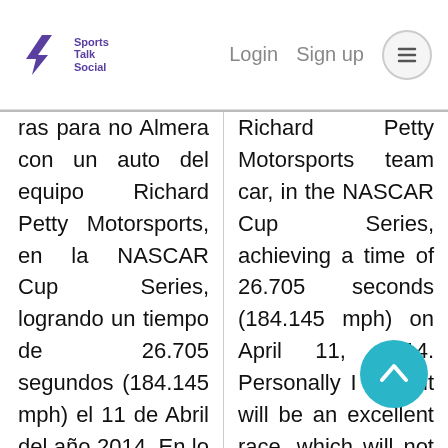Sports Talk Social | Login | Sign up
ras para no Almera con un auto del equipo Richard Petty Motorsports, en la NASCAR Cup Series, logrando un tiempo de 26.705 segundos (184.145 mph) el 11 de Abril del año 2014. En lo personal creo que será una excelente carrera, que no nos decepcionará para nada y veremos grandes batallas
Richard Petty Motorsports team car, in the NASCAR Cup Series, achieving a time of 26.705 seconds (184.145 mph) on April 11, 2014. Personally I think it will be an excellent race, which will not disappoint us at all and we will see great battles between the drivers, where each of them will try to achieve the goal of